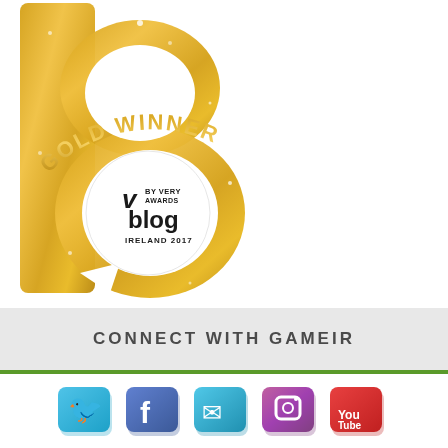[Figure (logo): Gold Winner badge for Very Blog Awards Ireland 2017 - a large golden glittery letter 'b' (blog shape) with 'GOLD WINNER' text arching over the top in gold, and a circular logo in the center reading 'by Very Awards blog Ireland 2017' in black and white]
CONNECT WITH GAMEIR
[Figure (illustration): Row of 3D social media icons: Twitter (blue bird), Facebook (blue f), Twitter/another (blue), Instagram (gradient purple/orange), YouTube (red)]